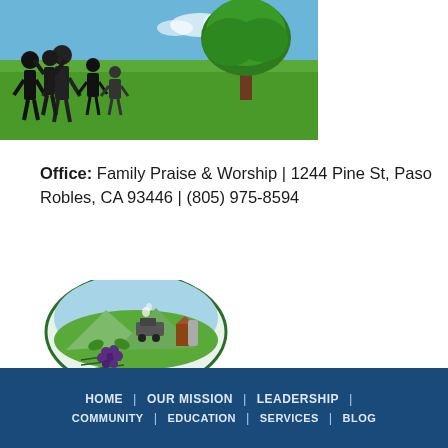[Figure (photo): Photo showing cartoon stick-figure family silhouettes on left, with a green field and blue sky background, and a large tree on the right side.]
Office: Family Praise & Worship | 1244 Pine St, Paso Robles, CA 93446 | (805) 975-8594
[Figure (logo): Templeton Chamber of Commerce logo featuring agricultural scene with train, grapes, EST. 1886 banner, and text TEMPLETON CHAMBER of COMMERCE.]
HOME | OUR MISSION | LEADERSHIP | COMMUNITY | EDUCATION | SERVICES | BLOG